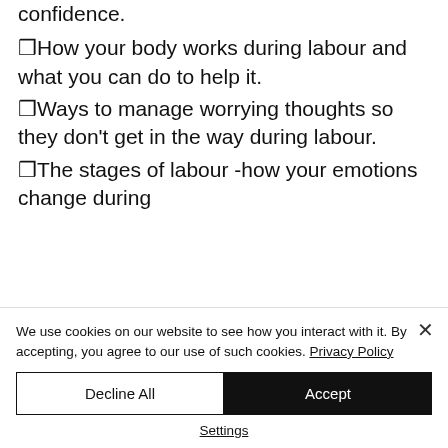confidence.
❑How your body works during labour and what you can do to help it.
❑Ways to manage worrying thoughts so they don't get in the way during labour.
❑The stages of labour -how your emotions change during
We use cookies on our website to see how you interact with it. By accepting, you agree to our use of such cookies. Privacy Policy
Decline All | Accept
Settings